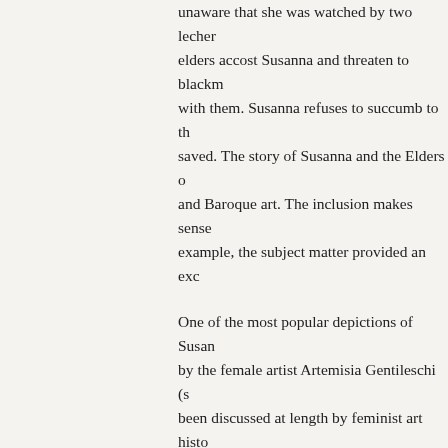unaware that she was watched by two leche elders accost Susanna and threaten to blackm with them. Susanna refuses to succumb to th saved. The story of Susanna and the Elders c and Baroque art. The inclusion makes sense example, the subject matter provided an exc
One of the most popular depictions of Susan by the female artist Artemisia Gentileschi (s been discussed at length by feminist art hist discusses how Susanna's twisted compositio and innocence. Garrard also delves into a dis biography, in which she was raped by her fa
Although Garrard has some interesting ideas writing about a more recent interpretation fo Olsewski published a short article in 2007 w interpret this painting. Edward J. Olszewski Garrard's interpretations, but finds that we m (and other depictions of Susanna going back the context of the Counter-Reformation and